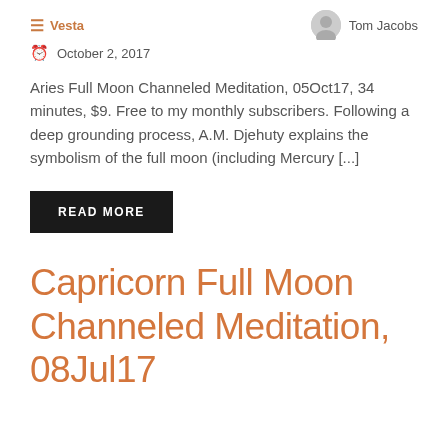Vesta  Tom Jacobs
October 2, 2017
Aries Full Moon Channeled Meditation, 05Oct17, 34 minutes, $9. Free to my monthly subscribers. Following a deep grounding process, A.M. Djehuty explains the symbolism of the full moon (including Mercury [...]
READ MORE
Capricorn Full Moon Channeled Meditation, 08Jul17